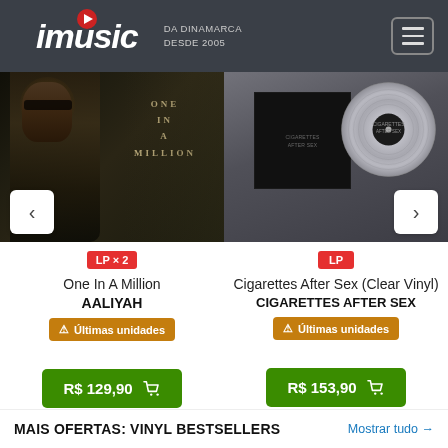imusic DA DINAMARCA DESDE 2005
[Figure (photo): Album cover: One In A Million by Aaliyah, dark moody photo with woman wearing sunglasses, text 'ONE IN A MILLION' visible]
[Figure (photo): Album cover: Cigarettes After Sex (Clear Vinyl), black sleeve with silver/clear vinyl disc visible beside it]
LP × 2
LP
One In A Million
AALIYAH
⚠ Últimas unidades
Cigarettes After Sex (Clear Vinyl)
CIGARETTES AFTER SEX
⚠ Últimas unidades
R$ 129,90
R$ 153,90
MAIS OFERTAS: VINYL BESTSELLERS
Mostrar tudo →